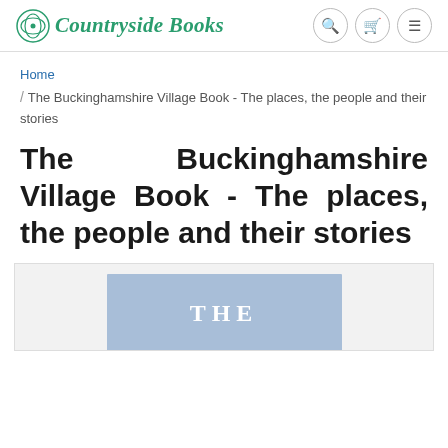Countryside Books
Home / The Buckinghamshire Village Book - The places, the people and their stories
The Buckinghamshire Village Book - The places, the people and their stories
[Figure (photo): Book cover preview showing 'THE' text in white on a steel-blue background, partially visible]